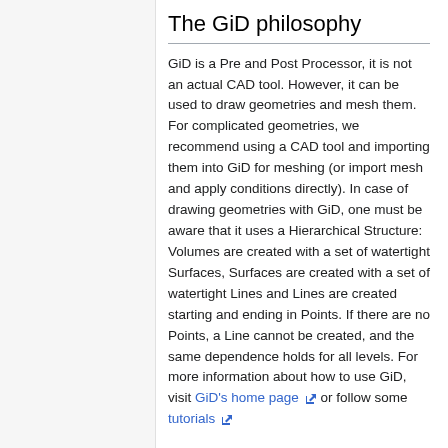The GiD philosophy
GiD is a Pre and Post Processor, it is not an actual CAD tool. However, it can be used to draw geometries and mesh them. For complicated geometries, we recommend using a CAD tool and importing them into GiD for meshing (or import mesh and apply conditions directly). In case of drawing geometries with GiD, one must be aware that it uses a Hierarchical Structure: Volumes are created with a set of watertight Surfaces, Surfaces are created with a set of watertight Lines and Lines are created starting and ending in Points. If there are no Points, a Line cannot be created, and the same dependence holds for all levels. For more information about how to use GiD, visit GiD's home page [external link] or follow some tutorials [external link]
The Kratos philosophy